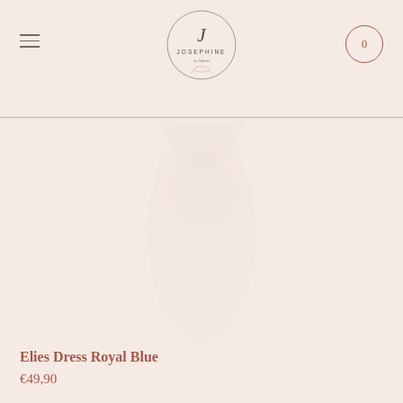JOSEPHINE
[Figure (photo): Product photo of Elies Dress Royal Blue — a light-toned dress on a pale pink background, very faint/washed out image]
Elies Dress Royal Blue
€49,90